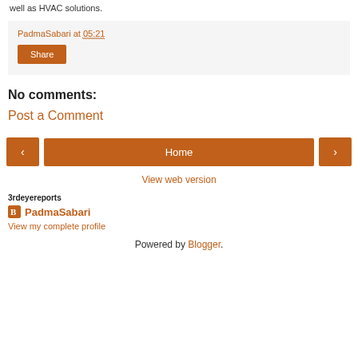well as HVAC solutions.
PadmaSabari at 05:21
Share
No comments:
Post a Comment
‹ Home ›
View web version
3rdeyereports
PadmaSabari
View my complete profile
Powered by Blogger.